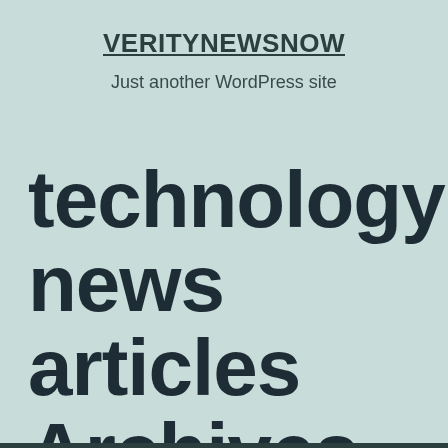VERITYNEWSNOW
Just another WordPress site
technology news articles Archives